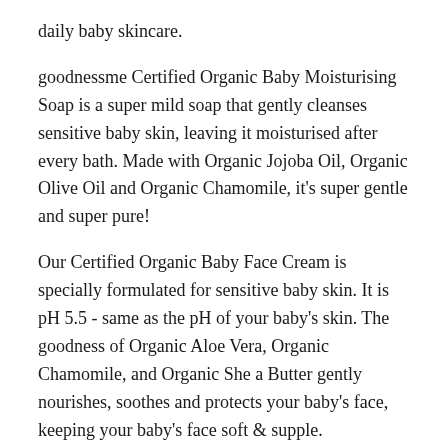daily baby skincare.
goodnessme Certified Organic Baby Moisturising Soap is a super mild soap that gently cleanses sensitive baby skin, leaving it moisturised after every bath. Made with Organic Jojoba Oil, Organic Olive Oil and Organic Chamomile, it's super gentle and super pure!
Our Certified Organic Baby Face Cream is specially formulated for sensitive baby skin. It is pH 5.5 - same as the pH of your baby's skin. The goodness of Organic Aloe Vera, Organic Chamomile, and Organic She a Butter gently nourishes, soothes and protects your baby's face, keeping your baby's face soft & supple.
This baby oil + baby soap + baby face cream combo is ideal for first time users and super-convenient for travel. Our Baby Soap is also Paediatrician Certified, Dermatologically Tested, Hypoallergenic (least likely to cause reactions) and V...